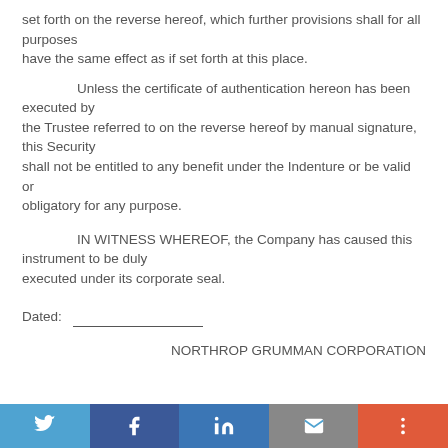set forth on the reverse hereof, which further provisions shall for all purposes
have the same effect as if set forth at this place.
Unless the certificate of authentication hereon has been executed by
the Trustee referred to on the reverse hereof by manual signature, this Security
shall not be entitled to any benefit under the Indenture or be valid or
obligatory for any purpose.
IN WITNESS WHEREOF, the Company has caused this instrument to be duly
executed under its corporate seal.
Dated: _______________
NORTHROP GRUMMAN CORPORATION